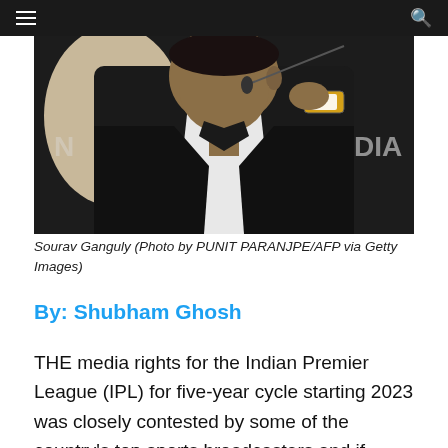[Figure (photo): Photo of Sourav Ganguly wearing a black suit and white shirt, sitting at a table with a microphone, holding his watch.]
Sourav Ganguly (Photo by PUNIT PARANJPE/AFP via Getty Images)
By: Shubham Ghosh
THE media rights for the Indian Premier League (IPL) for five-year cycle starting 2023 was closely contested by some of the country's top sports broadcasters and if sources are to be believed, the prices of the television and digital rights were pegged at Rs 44,075 crore (£4.6 billion). It put the valuation of each game in the cash-rich tournament at more than Rs 100 crore